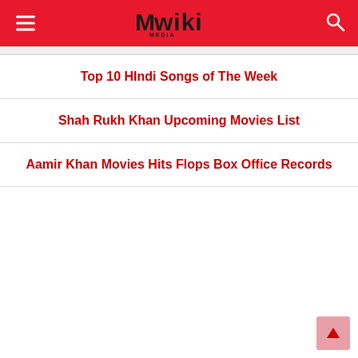Mwiki MEDIA
Top 10 HIndi Songs of The Week
Shah Rukh Khan Upcoming Movies List
Aamir Khan Movies Hits Flops Box Office Records